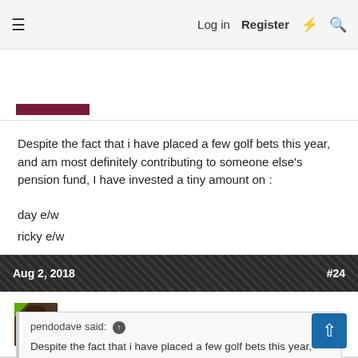Log in  Register
Despite the fact that i have placed a few golf bets this year, and am most definitely contributing to someone else's pension fund, I have invested a tiny amount on :
day e/w
ricky e/w
zj top 20
If you value your account, do the opposite.
Aug 2, 2018  #24
Orikoru
Tour Winner
pendodave said:
Despite the fact that i have placed a few golf bets this year, and am